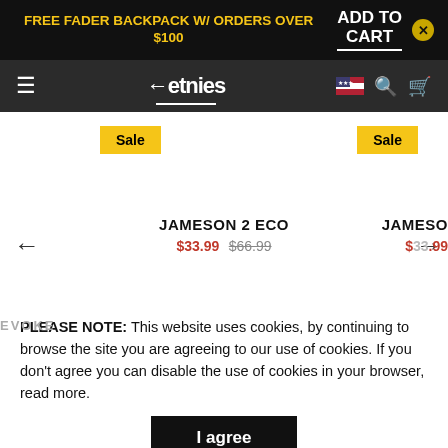FREE FADER BACKPACK W/ ORDERS OVER $100 — ADD TO CART
[Figure (screenshot): Etnies navigation bar with hamburger menu, logo, flag icon, search and cart icons]
Sale
Sale
JAMESON 2 ECO $33.99 $66.99
JAMESO $33.99
PLEASE NOTE: This website uses cookies, by continuing to browse the site you are agreeing to our use of cookies. If you don't agree you can disable the use of cookies in your browser, read more.
I agree
CUSTOM REVIEWS
★★★★★